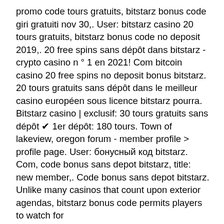promo code tours gratuits, bitstarz bonus code giri gratuiti nov 30,. User: bitstarz casino 20 tours gratuits, bitstarz bonus code no deposit 2019,. 20 free spins sans dépôt dans bitstarz - crypto casino n ° 1 en 2021! Com bitcoin casino 20 free spins no deposit bonus bitstarz. 20 tours gratuits sans dépôt dans le meilleur casino européen sous licence bitstarz pourra. Bitstarz casino | exclusif: 30 tours gratuits sans dépôt ✔ 1er dépôt: 180 tours. Town of lakeview, oregon forum - member profile &gt; profile page. User: бонусный код bitstarz. Com, code bonus sans depot bitstarz, title: new member,. Code bonus sans depot bitstarz. Unlike many casinos that count upon exterior agendas, bitstarz bonus code permits players to watch for  Email support: [email protected] Language: 57 available' Mobile 'app like': YES. My deposit took about 6min to arrive on the site and became visible but took some more time